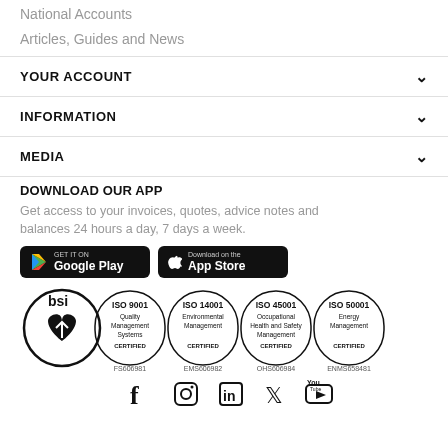National Accounts
Articles, Guides and News
YOUR ACCOUNT
INFORMATION
MEDIA
DOWNLOAD OUR APP
Get access to your invoices, quotes, advice notes and balances 24 hours a day, 7 days a week.
[Figure (logo): Google Play store download button]
[Figure (logo): Apple App Store download button]
[Figure (logo): BSI certification logos: ISO 9001 Quality Management Systems CERTIFIED FS606981, ISO 14001 Environmental Management CERTIFIED EMS606982, ISO 45001 Occupational Health and Safety Management CERTIFIED OHS606984, ISO 50001 Energy Management CERTIFIED ENMS658481]
[Figure (logo): Social media icons: Facebook, Instagram, LinkedIn, Twitter, YouTube]